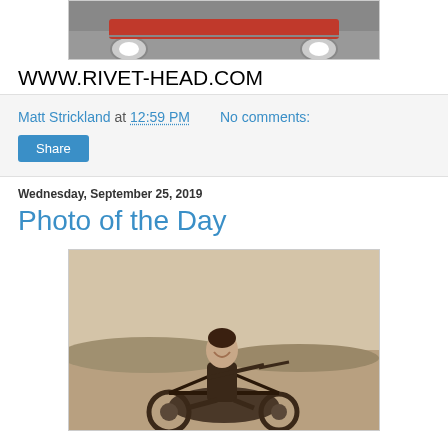[Figure (photo): Top portion of a photo showing what appears to be a vehicle with wheels on pavement, partially visible at the top of the page.]
WWW.RIVET-HEAD.COM
Matt Strickland at 12:59 PM   No comments:
Share
Wednesday, September 25, 2019
Photo of the Day
[Figure (photo): Vintage sepia-toned photograph of a smiling woman in leather jacket sitting on a classic motorcycle, outdoors with open landscape in the background.]